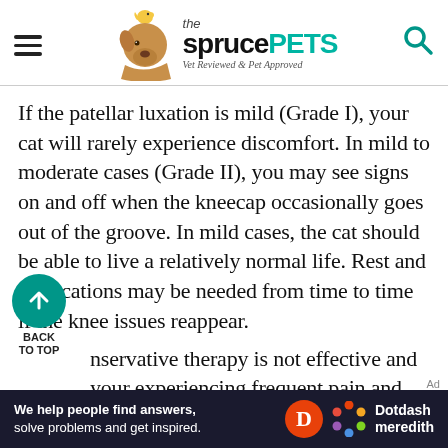the spruce PETS — Vet Reviewed & Pet Approved
If the patellar luxation is mild (Grade I), your cat will rarely experience discomfort. In mild to moderate cases (Grade II), you may see signs on and off when the kneecap occasionally goes out of the groove. In mild cases, the cat should be able to live a relatively normal life. Rest and medications may be needed from time to time if the knee issues reappear. Conservative therapy is not effective and your experiencing frequent pain and immobility, then surgical treatment may be
[Figure (other): Back to Top navigation button — teal circle with upward arrow, labeled BACK TO TOP]
[Figure (other): Dotdash Meredith advertisement banner: 'We help people find answers, solve problems and get inspired.' with Dotdash Meredith logo]